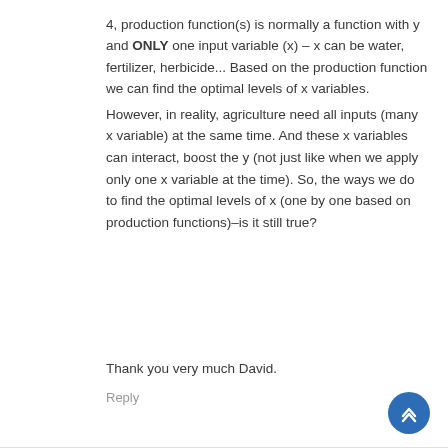4, production function(s) is normally a function with y and ONLY one input variable (x) – x can be water, fertilizer, herbicide... Based on the production function we can find the optimal levels of x variables.
However, in reality, agriculture need all inputs (many x variable) at the same time. And these x variables can interact, boost the y (not just like when we apply only one x variable at the time). So, the ways we do to find the optimal levels of x (one by one based on production functions)–is it still true?
Thank you very much David.
Reply